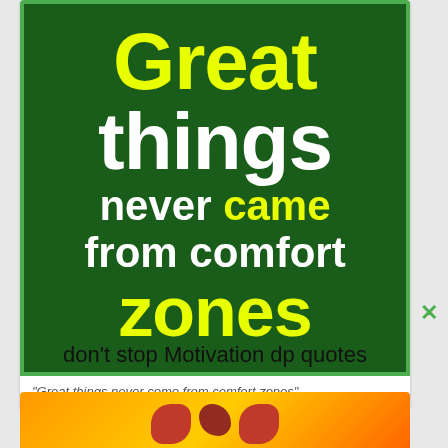[Figure (illustration): Dark green square image with large bold text: 'Great things never came from comfort zones' — 'Great' and 'zones' in yellow, other words in white, on a dark green background with green border.]
“Great things never come from comfort zones”
don’t stop Motivation dp quotes
[Figure (illustration): Partial view of a colorful illustration with orange/yellow background and dark red organic blob shapes, partially visible at the bottom of the page.]